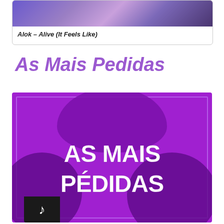[Figure (screenshot): Card showing a blurred purple music album art for 'Alok – Alive (It Feels Like)']
Alok – Alive (It Feels Like)
As Mais Pedidas
[Figure (illustration): Purple square artwork with stylized text reading 'As Mais Pedidas' in white brush lettering on a purple background with dark blob shapes]